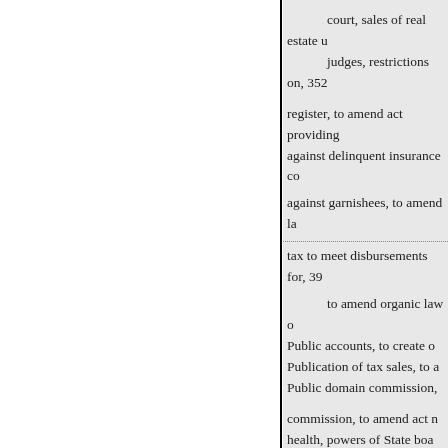court, sales of real estate u
judges, restrictions on, 352
register, to amend act providing
against delinquent insurance co
against garnishees, to amend la
tax to meet disbursements for, 39
to amend organic law o
Public accounts, to create o
Publication of tax sales, to a
Public domain commission,
commission, to amend act n
health, powers of State boa
library act, to amend for cit
order, enforcement of on in
schools, holidays to be o
Pure food law, to amend, 31
Purity of the ballot, to secu